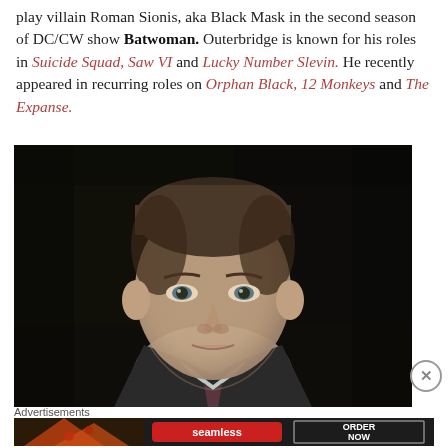play villain Roman Sionis, aka Black Mask in the second season of DC/CW show Batwoman. Outerbridge is known for his roles in Suicide Squad, Saw VI and Lucky Number Slevin. He recently appeared in recurring roles on Orphan Black, 12 Monkeys and The Expanse.
[Figure (photo): Close-up portrait of a middle-aged man with short dark hair, wearing a dark suit and tie, against a very dark background. The man has sharp features and is looking directly at the camera with a serious expression.]
Advertisements
[Figure (screenshot): Advertisement banner for Seamless food delivery service showing pizza slices on the left, 'seamless' branding in white text on a red background in the center, and 'ORDER NOW' text in a white-bordered box on the right, all on a dark background.]